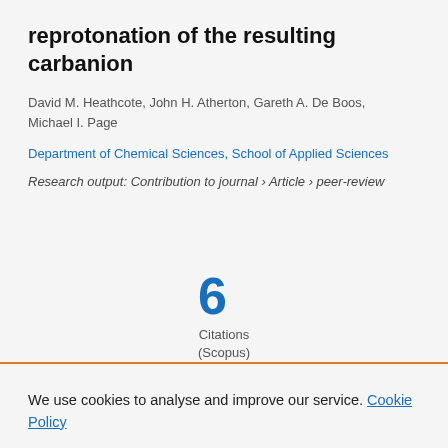reprotonation of the resulting carbanion
David M. Heathcote, John H. Atherton, Gareth A. De Boos, Michael I. Page
Department of Chemical Sciences, School of Applied Sciences
Research output: Contribution to journal › Article › peer-review
6 Citations (Scopus)
We use cookies to analyse and improve our service. Cookie Policy